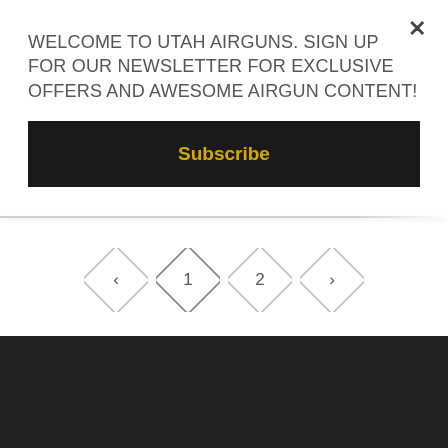WELCOME TO UTAH AIRGUNS. SIGN UP FOR OUR NEWSLETTER FOR EXCLUSIVE OFFERS AND AWESOME AIRGUN CONTENT!
Subscribe
[Figure (other): Pagination controls with four diamond-shaped buttons: left arrow, 1, 2, right arrow]